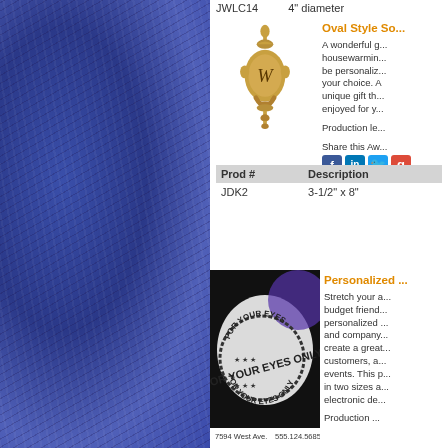| Prod # | Description |
| --- | --- |
| JWLC14 | 4" diameter |
Oval Style So...
A wonderful g... housewarming... be personaliz... your choice. A unique gift th... enjoyed for y...
Production le...
Share this Aw...
| Prod # | Description |
| --- | --- |
| JDK2 | 3-1/2" x 8" |
Personalized ...
Stretch your a... budget friend... personalized ... and company... create a great... customers, a... events. This p... in two sizes a... electronic de...
Production ...
[Figure (photo): Personalized rubber stamp product showing FOR YOUR EYES ONLY stamp design with address and phone number 555.124.5685]
[Figure (illustration): Gold/brass oval style door knocker with monogram W]